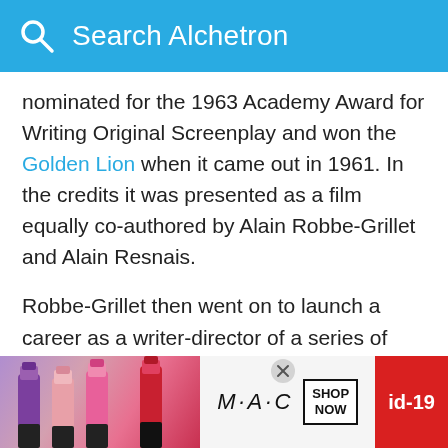Search Alchetron
nominated for the 1963 Academy Award for Writing Original Screenplay and won the Golden Lion when it came out in 1961. In the credits it was presented as a film equally co-authored by Alain Robbe-Grillet and Alain Resnais.
Robbe-Grillet then went on to launch a career as a writer-director of a series of cerebral and often sexually provocative feature films which explored similar themes to those in his literary work (e.g. Voyeurism, The Body as Text, The 'Double'). He commenced with L'Immortelle (The Immortal One) (1962) which won the much-coveted Louis Delluc Prize
[Figure (photo): MAC lipstick advertisement banner with colorful lipsticks, MAC logo, Shop Now button, and id-19 badge]